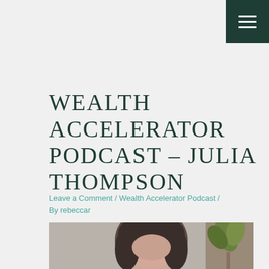WEALTH ACCELERATOR PODCAST – JULIA THOMPSON
Leave a Comment / Wealth Accelerator Podcast / By rebeccar
[Figure (photo): Portrait photo of Julia Thompson, a woman with dark hair, with a plant visible in the background]